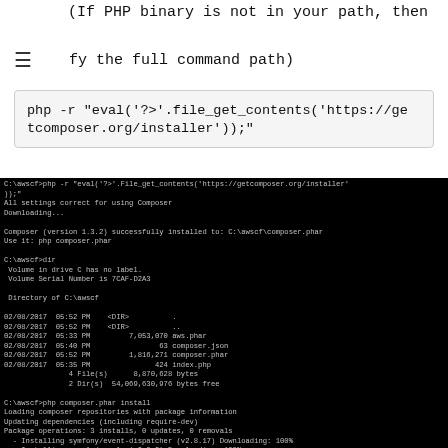(If PHP binary is not in your path, then
specify the full command path)
php -r "eval('?>'.file_get_contents('https://getcomposer.org/installer'));"
[Figure (screenshot): Terminal window showing composer installation output on Windows command prompt, including directory listing, composer install output with package information and suggestions.]